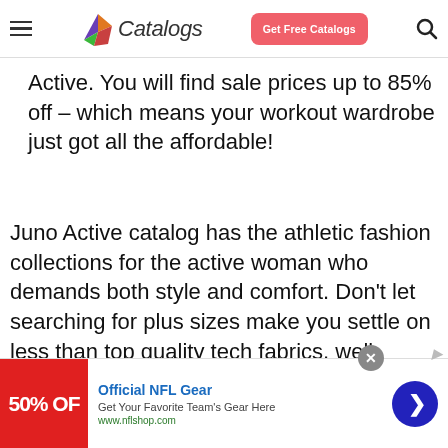[Figure (screenshot): Website header with hamburger menu, Catalogs logo with colorful bird icon, Get Free Catalogs red button, and search icon]
Active. You will find sale prices up to 85% off – which means your workout wardrobe just got all the affordable!
Juno Active catalog has the athletic fashion collections for the active woman who demands both style and comfort. Don't let searching for plus sizes make you settle on less than top quality tech fabrics, well constructed clothing and on trend colors.
[Figure (screenshot): Advertisement banner for Official NFL Gear showing 50% OFF deal, Get Your Favorite Team's Gear Here, www.nflshop.com, with blue arrow button and close button]